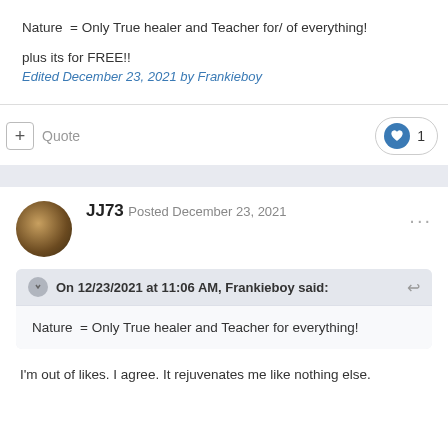Nature  = Only True healer and Teacher for/ of everything!
plus its for FREE!!
Edited December 23, 2021 by Frankieboy
JJ73
Posted December 23, 2021
On 12/23/2021 at 11:06 AM, Frankieboy said:
Nature  = Only True healer and Teacher for everything!
I'm out of likes. I agree. It rejuvenates me like nothing else.